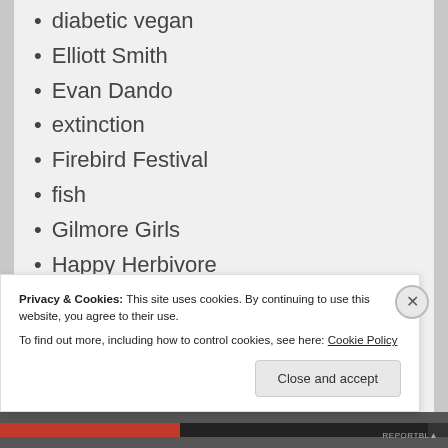diabetic vegan
Elliott Smith
Evan Dando
extinction
Firebird Festival
fish
Gilmore Girls
Happy Herbivore
homemade ice cream
Indian
James Golick
Joni Mitchell
Privacy & Cookies: This site uses cookies. By continuing to use this website, you agree to their use. To find out more, including how to control cookies, see here: Cookie Policy
Close and accept